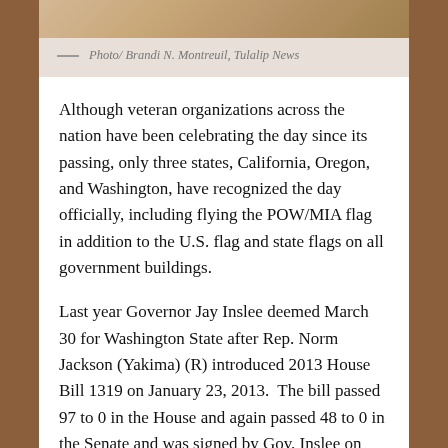[Figure (photo): Partial photograph showing a wood floor or surface, cropped at the top of the page]
— Photo/ Brandi N. Montreuil, Tulalip News
Although veteran organizations across the nation have been celebrating the day since its passing, only three states, California, Oregon, and Washington, have recognized the day officially, including flying the POW/MIA flag in addition to the U.S. flag and state flags on all government buildings.
Last year Governor Jay Inslee deemed March 30 for Washington State after Rep. Norm Jackson (Yakima) (R) introduced 2013 House Bill 1319 on January 23, 2013. The bill passed 97 to 0 in the House and again passed 48 to 0 in the Senate and was signed by Gov. Inslee on March 29, 2013.
This year, Tulalip hosted their first annual Welcome Home Vietnam Veterans celebration in honor of their fellow veterans. Attendees included tribal and non-tribal veterans